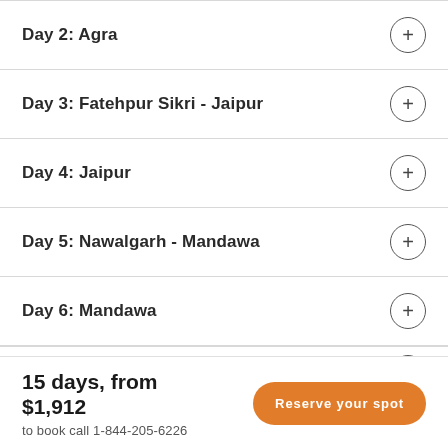Day 2: Agra
Day 3: Fatehpur Sikri - Jaipur
Day 4: Jaipur
Day 5: Nawalgarh - Mandawa
Day 6: Mandawa
Day 7: Bikaner
15 days, from $1,912
to book call 1-844-205-6226